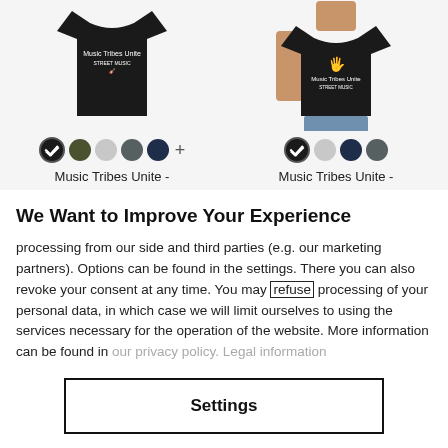[Figure (screenshot): Two black t-shirt product thumbnails side by side. Left t-shirt shows Music Tribes Unite text/logo, with color swatches (black checked, olive, light gray, dark gray, navy, plus sign) and label 'Music Tribes Unite -'. Right t-shirt shown on a model, with Music Tribes Unite hand logo, color swatches (black checked, light gray, navy, dark gray) and label 'Music Tribes Unite -'.]
We Want to Improve Your Experience
processing from our side and third parties (e.g. our marketing partners). Options can be found in the settings. There you can also revoke your consent at any time. You may refuse processing of your personal data, in which case we will limit ourselves to using the services necessary for the operation of the website. More information can be found in our privacy policy. Legal information
Settings